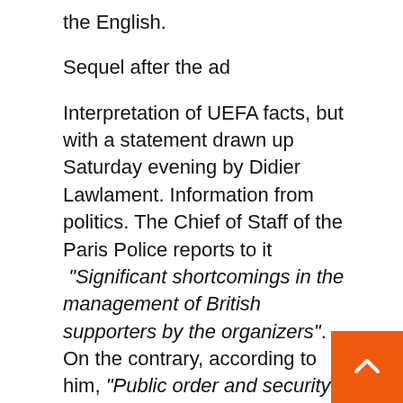the English.
Sequel after the ad
Interpretation of UEFA facts, but with a statement drawn up Saturday evening by Didier Lawlament. Information from politics. The Chief of Staff of the Paris Police reports to it “Significant shortcomings in the management of British supporters by the organizers”. On the contrary, according to him, “Public order and security system in the State de France and two fan zones” In Paris “As well as being useful on transportation and public roads” Since he allowed “Good flow of the game” And that ’“No major accident or serious injury” To be regretted. To justify the pre match setbacks, Didier Lalement is questioned “The RATP strike could explain the massive and delayed arrival of many British supporters”.